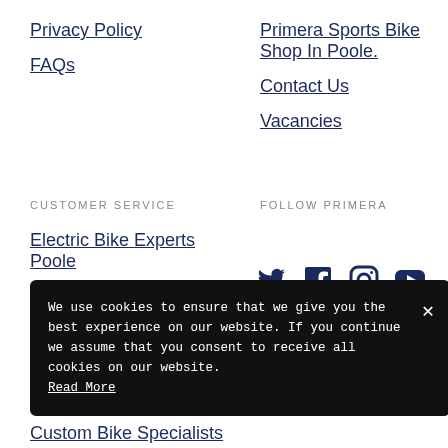Privacy Policy
FAQs
Primera Sports Bike Shop In Poole.
Contact Us
Vacancies
CUSTOMER SERVICE
FOLLOW PRIMERA
Electric Bike Experts Poole
Electric Bike Experts Bournemouth
Poole Workshop
Bournemouth Workshop
[Figure (infographic): Social media icons: Twitter, Facebook, Instagram, YouTube]
We use cookies to ensure that we give you the best experience on our website. If you continue we assume that you consent to receive all cookies on our website. Read More
Custom Bike Specialists